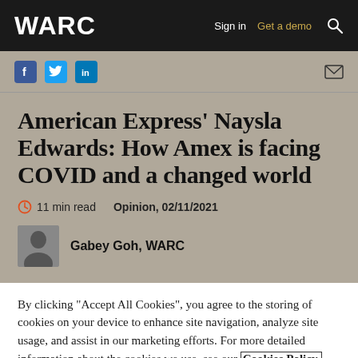WARC | Sign in | Get a demo
[Figure (screenshot): Social sharing icons: Facebook, Twitter, LinkedIn, and mail envelope]
American Express’ Naysla Edwards: How Amex is facing COVID and a changed world
11 min read   Opinion, 02/11/2021
Gabey Goh, WARC
By clicking “Accept All Cookies”, you agree to the storing of cookies on your device to enhance site navigation, analyze site usage, and assist in our marketing efforts. For more detailed information about the cookies we use, see our Cookies Policy.